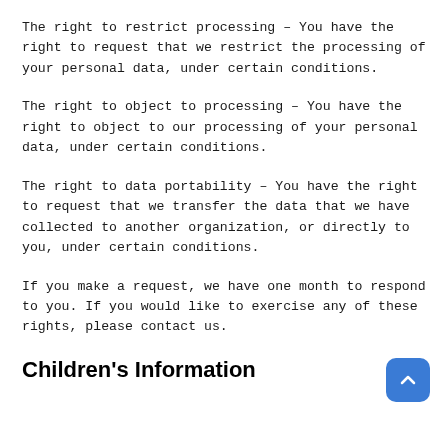The right to restrict processing – You have the right to request that we restrict the processing of your personal data, under certain conditions.
The right to object to processing – You have the right to object to our processing of your personal data, under certain conditions.
The right to data portability – You have the right to request that we transfer the data that we have collected to another organization, or directly to you, under certain conditions.
If you make a request, we have one month to respond to you. If you would like to exercise any of these rights, please contact us.
Children's Information